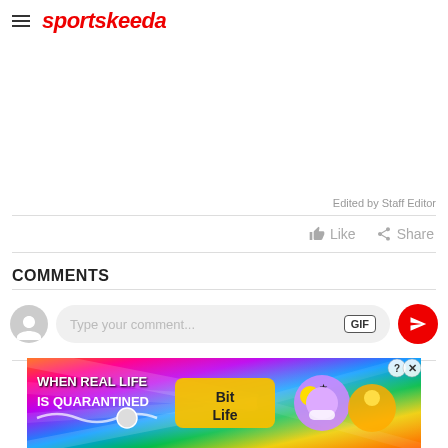sportskeeda
Edited by Staff Editor
Like   Share
COMMENTS
Type your comment...
[Figure (screenshot): Advertisement banner: WHEN REAL LIFE IS QUARANTINED - BitLife game ad with colorful background and emoji characters]